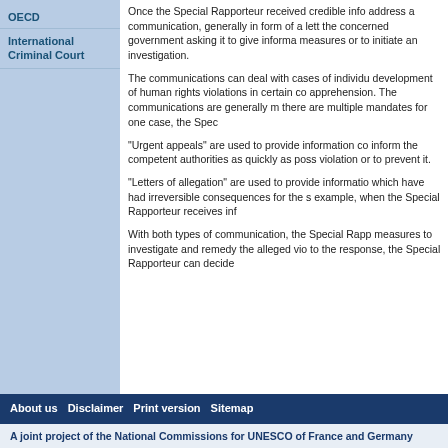OECD
International Criminal Court
Once the Special Rapporteur received credible info address a communication, generally in form of a lett the concerned government asking it to give informa measures or to initiate an investigation.
The communications can deal with cases of individu development of human rights violations in certain co apprehension. The communications are generally m there are multiple mandates for one case, the Spec
“Urgent appeals” are used to provide information co inform the competent authorities as quickly as poss violation or to prevent it.
“Letters of allegation” are used to provide informatio which have had irreversible consequences for the s example, when the Special Rapporteur receives inf
With both types of communication, the Special Rapp measures to investigate and remedy the alleged vio to the response, the Special Rapporteur can decide
About us   Disclaimer   Print version   Sitemap
A joint project of the National Commissions for UNESCO of France and Germany